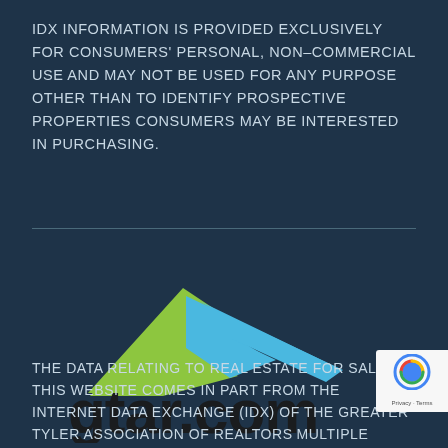IDX INFORMATION IS PROVIDED EXCLUSIVELY FOR CONSUMERS' PERSONAL, NON-COMMERCIAL USE AND MAY NOT BE USED FOR ANY PURPOSE OTHER THAN TO IDENTIFY PROSPECTIVE PROPERTIES CONSUMERS MAY BE INTERESTED IN PURCHASING.
[Figure (logo): GTAR.com logo with a stylized roof/chevron shape in green and blue colors above the text 'gtar.com' in dark bold letters]
THE DATA RELATING TO REAL ESTATE FOR SALE ON THIS WEBSITE COMES IN PART FROM THE INTERNET DATA EXCHANGE (IDX) OF THE GREATER TYLER ASSOCIATION OF REALTORS MULTIPLE LISTING SERVICE. THE IDX LOGO INDICATES LIS OF OTHER REAL ESTATE FIRMS THAT ARE IDENTIFIED IN THE